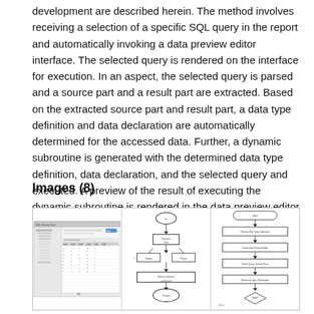development are described herein. The method involves receiving a selection of a specific SQL query in the report and automatically invoking a data preview editor interface. The selected query is rendered on the interface for execution. In an aspect, the selected query is parsed and a source part and a result part are extracted. Based on the extracted source part and result part, a data type definition and data declaration are automatically determined for the accessed data. Further, a dynamic subroutine is generated with the determined data type definition, data declaration, and the selected query and executed. A preview of the result of executing the dynamic subroutine is rendered in the data preview editor for validating the query.
Images (8)
[Figure (screenshot): Three side-by-side images: (1) a screenshot of a software UI showing a data preview editor with SQL query results in a table grid, (2) a flowchart diagram with boxes and arrows, (3) another flowchart/process diagram with boxes and decision shapes.]